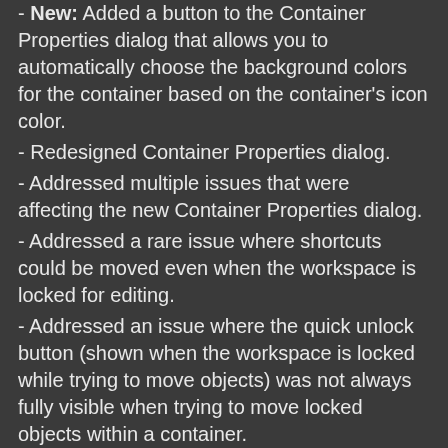New: Added a button to the Container Properties dialog that allows you to automatically choose the background colors for the container based on the container's icon color.
- Redesigned Container Properties dialog.
- Addressed multiple issues that were affecting the new Container Properties dialog.
- Addressed a rare issue where shortcuts could be moved even when the workspace is locked for editing.
- Addressed an issue where the quick unlock button (shown when the workspace is locked while trying to move objects) was not always fully visible when trying to move locked objects within a container.
- When detaching containers the workspace will collapse if it's near the edge.
- Add New RSS dialog redesign: Removed the option to add multiple RSS news feeds at once (It was probably more confusing than useful).